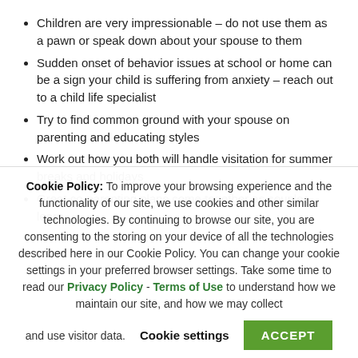Children are very impressionable – do not use them as a pawn or speak down about your spouse to them
Sudden onset of behavior issues at school or home can be a sign your child is suffering from anxiety – reach out to a child life specialist
Try to find common ground with your spouse on parenting and educating styles
Work out how you both will handle visitation for summer breaks and holidays
Great co-parenting plans come together as couples learn
Cookie Policy: To improve your browsing experience and the functionality of our site, we use cookies and other similar technologies. By continuing to browse our site, you are consenting to the storing on your device of all the technologies described here in our Cookie Policy. You can change your cookie settings in your preferred browser settings. Take some time to read our Privacy Policy - Terms of Use to understand how we maintain our site, and how we may collect and use visitor data. Cookie settings ACCEPT